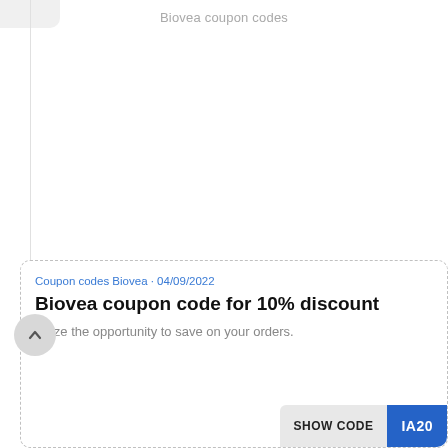Biovea coupon codes
Coupon codes Biovea • 04/09/2022
Biovea coupon code for 10% discount
Seize the opportunity to save on your orders.